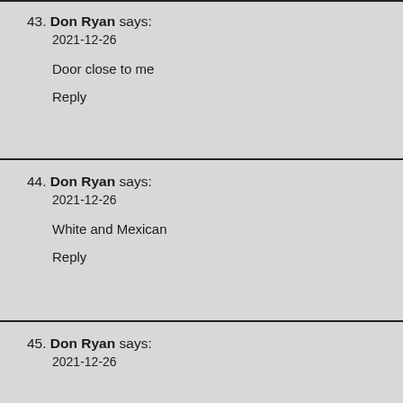43. Don Ryan says:
2021-12-26

Door close to me

Reply
44. Don Ryan says:
2021-12-26

White and Mexican

Reply
45. Don Ryan says:
2021-12-26